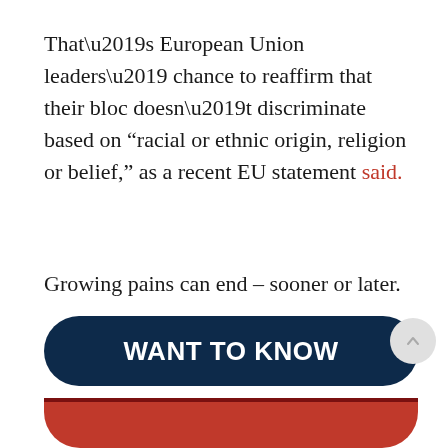That’s European Union leaders’ chance to reaffirm that their bloc doesn’t discriminate based on “racial or ethnic origin, religion or belief,” as a recent EU statement said.
Growing pains can end – sooner or later.
[Figure (other): Dark navy blue rounded button with bold white text reading WANT TO KNOW, with a dark red stripe and red rounded bottom bar below it, and a grey circular scroll-up arrow button overlapping the right side]